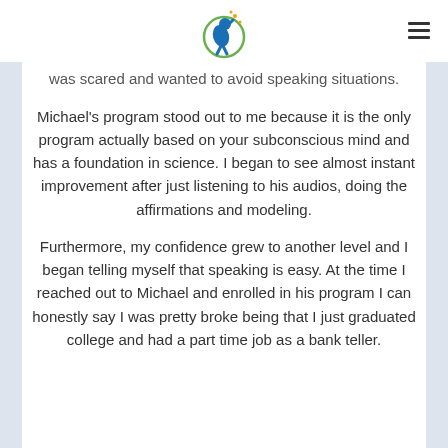[Figure (logo): Circular logo with a person figure and star/sparkle accents in blue and green]
was scared and wanted to avoid speaking situations.
Michael's program stood out to me because it is the only program actually based on your subconscious mind and has a foundation in science. I began to see almost instant improvement after just listening to his audios, doing the affirmations and modeling.
Furthermore, my confidence grew to another level and I began telling myself that speaking is easy. At the time I reached out to Michael and enrolled in his program I can honestly say I was pretty broke being that I just graduated college and had a part time job as a bank teller.